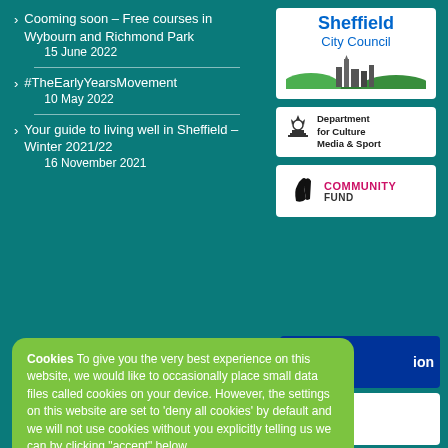Cooming soon – Free courses in Wybourn and Richmond Park
15 June 2022
#TheEarlyYearsMovement
10 May 2022
Your guide to living well in Sheffield – Winter 2021/22
16 November 2021
[Figure (logo): Sheffield City Council logo with blue text and green skyline silhouette on white background]
[Figure (logo): Department for Culture Media & Sport logo with crown crest on white background]
[Figure (logo): National Lottery Community Fund logo with crossed fingers symbol in black and pink/magenta COMMUNITY FUND text]
[Figure (logo): Partial blue logo showing 'ion' text on blue background]
[Figure (logo): Partial white logo showing WELL, V in pink, NITY text]
Cookies To give you the very best experience on this website, we would like to occasionally place small data files called cookies on your device. However, the settings on this website are set to 'deny all cookies' by default and we will not use cookies without you explicitly telling us we can by clicking "accept" below.
Accept
Read more
Manage My Data